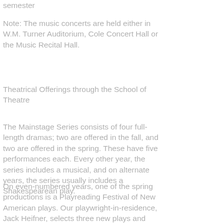semester
Note: The music concerts are held either in W.M. Turner Auditorium, Cole Concert Hall or the Music Recital Hall.
Theatrical Offerings through the School of Theatre
The Mainstage Series consists of four full-length dramas; two are offered in the fall, and two are offered in the spring. These have five performances each. Every other year, the series includes a musical, and on alternate years, the series usually includes a Shakespearean play.
On even-numbered years, one of the spring productions is a Playreading Festival of New American plays. Our playwright-in-residence, Jack Heifner, selects three new plays and invites the playwrights to Nacogdoches where audiences can see premiere performances of the newly written